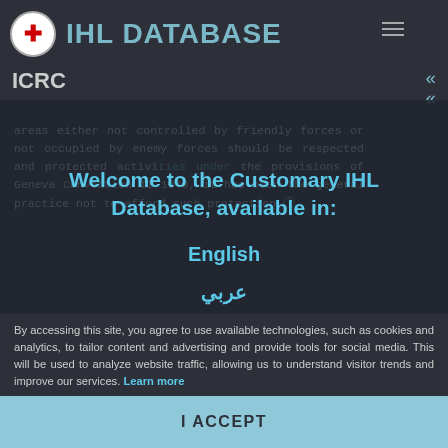IHL DATABASE — ICRC
areas either not controlled by friendly forces or not occupied by enemy forces should be respected and protected activities under the provisions of Geneva Convention II 1949, it has been the general practice not to afford such protection.
In its chapter on prisoners of
[Figure (screenshot): Welcome modal overlay with text: Welcome to the Customary IHL Database, available in: English, عربي]
By accessing this site, you agree to use available technologies, such as cookies and analytics, to tailor content and advertising and provide tools for social media. This will be used to analyze website traffic, allowing us to understand visitor trends and improve our services. Learn more
I ACCEPT